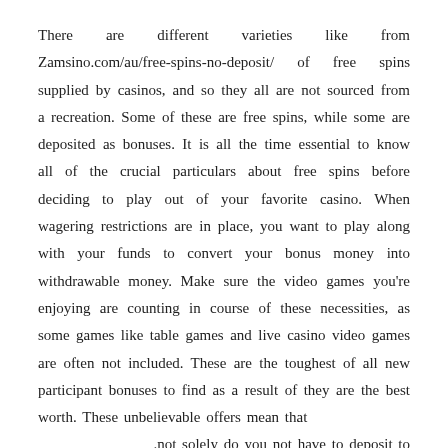There are different varieties like from Zamsino.com/au/free-spins-no-deposit/ of free spins supplied by casinos, and so they all are not sourced from a recreation. Some of these are free spins, while some are deposited as bonuses. It is all the time essential to know all of the crucial particulars about free spins before deciding to play out of your favorite casino. When wagering restrictions are in place, you want to play along with your funds to convert your bonus money into withdrawable money. Make sure the video games you're enjoying are counting in course of these necessities, as some games like table games and live casino video games are often not included. These are the toughest of all new participant bonuses to find as a result of they are the best worth. These unbelievable offers mean that not solely do you not have to deposit to have the ability to play.
There are a slew of nice on-line casino games to which the 120 free spins apply. These free spins provide players a larger alternative to get the most bang out of their buck with a deposit installment. To get the best out of a hundred and twenty free spins real money, it's essential to have a good information of the best slot video games to check out the a hundred and